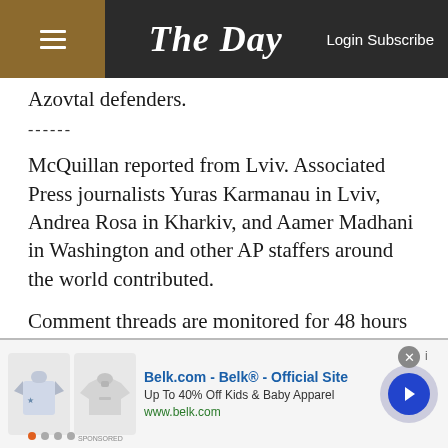The Day — Login Subscribe
Azovstal defenders.
------
McQuillan reported from Lviv. Associated Press journalists Yuras Karmanau in Lviv, Andrea Rosa in Kharkiv, and Aamer Madhani in Washington and other AP staffers around the world contributed.
Comment threads are monitored for 48 hours after publication and then closed.
[Figure (other): Advertisement banner for Belk.com showing kids apparel with images of clothing items, arrow navigation button, and close button]